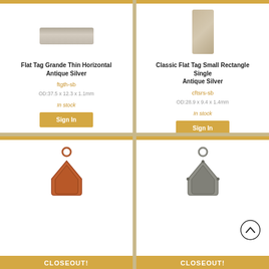[Figure (photo): Flat Tag Grande Thin Horizontal Antique Silver product image]
Flat Tag Grande Thin Horizontal Antique Silver
ftgth-sb
OD:37.5 x 12.3 x 1.1mm
In stock
Sign In
[Figure (photo): Classic Flat Tag Small Rectangle Single Antique Silver product image]
Classic Flat Tag Small Rectangle Single Antique Silver
cftsrs-sb
OD:28.9 x 9.4 x 1.4mm
In stock
Sign In
[Figure (photo): Copper charm pendant product image with CLOSEOUT banner]
CLOSEOUT!
[Figure (photo): Antique silver charm pendant product image with CLOSEOUT banner]
CLOSEOUT!